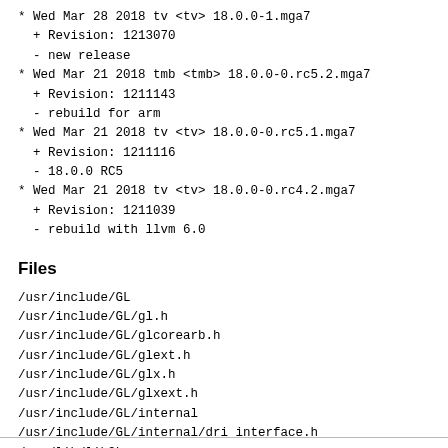* Wed Mar 28 2018 tv <tv> 18.0.0-1.mga7
  + Revision: 1213070
  - new release
* Wed Mar 21 2018 tmb <tmb> 18.0.0-0.rc5.2.mga7
  + Revision: 1211143
  - rebuild for arm
* Wed Mar 21 2018 tv <tv> 18.0.0-0.rc5.1.mga7
  + Revision: 1211116
  - 18.0.0 RC5
* Wed Mar 21 2018 tv <tv> 18.0.0-0.rc4.2.mga7
  + Revision: 1211039
  - rebuild with llvm 6.0
Files
/usr/include/GL
/usr/include/GL/gl.h
/usr/include/GL/glcorearb.h
/usr/include/GL/glext.h
/usr/include/GL/glx.h
/usr/include/GL/glxext.h
/usr/include/GL/internal
/usr/include/GL/internal/dri_interface.h
/usr/lib/libGL.so
/usr/lib/pkgconfig/dri.pc
/usr/lib/pkgconfig/gl.pc